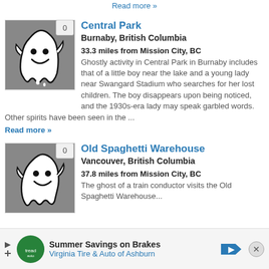Read more »
[Figure (illustration): Ghost cartoon illustration on grey background with badge showing 0]
Central Park
Burnaby, British Columbia
33.3 miles from Mission City, BC
Ghostly activity in Central Park in Burnaby includes that of a little boy near the lake and a young lady near Swangard Stadium who searches for her lost children. The boy disappears upon being noticed, and the 1930s-era lady may speak garbled words. Other spirits have been seen in the ...
Read more »
[Figure (illustration): Ghost cartoon illustration on grey background with badge showing 0]
Old Spaghetti Warehouse
Vancouver, British Columbia
37.8 miles from Mission City, BC
The ghost of a train conductor visits the Old Spaghetti Warehouse...
Summer Savings on Brakes Virginia Tire & Auto of Ashburn